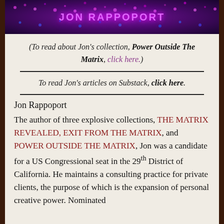[Figure (illustration): Banner image with dark purple/magenta gradient background and dot pattern, displaying 'JON RAPPOPORT' text in pink/magenta letters]
(To read about Jon's collection, Power Outside The Matrix, click here.)
To read Jon's articles on Substack, click here.
Jon Rappoport
The author of three explosive collections, THE MATRIX REVEALED, EXIT FROM THE MATRIX, and POWER OUTSIDE THE MATRIX, Jon was a candidate for a US Congressional seat in the 29th District of California. He maintains a consulting practice for private clients, the purpose of which is the expansion of personal creative power. Nominated